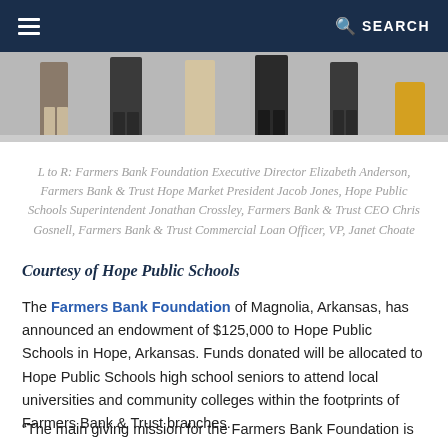≡  🔍 SEARCH
[Figure (photo): Bottom portion of a group photo showing people standing, cropped to show only their lower bodies/legs.]
L to R: Farmers Bank Foundation Executive Director Elizabeth Anderson, Farmers Bank & Trust Hope Market President Jacob Jones, Hope Public Schools Superintendent Jonathan Crossley, Farmers Bank & Trust CEO Chris Gosnell, Farmers Bank & Trust Commercial Loan Officer, VP, Janet Choate
Courtesy of Hope Public Schools
The Farmers Bank Foundation of Magnolia, Arkansas, has announced an endowment of $125,000 to Hope Public Schools in Hope, Arkansas. Funds donated will be allocated to Hope Public Schools high school seniors to attend local universities and community colleges within the footprints of Farmers Bank & Trust branches.
“The main giving mission for the Farmers Bank Foundation is